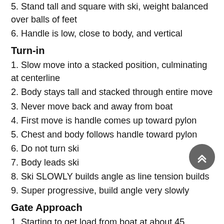5. Stand tall and square with ski, weight balanced over balls of feet
6. Handle is low, close to body, and vertical
Turn-in
1. Slow move into a stacked position, culminating at centerline
2. Body stays tall and stacked through entire move
3. Never move back and away from boat
4. First move is handle comes up toward pylon
5. Chest and body follows handle toward pylon
6. Do not turn ski
7. Body leads ski
8. Ski SLOWLY builds angle as line tension builds
9. Super progressive, build angle very slowly
Gate Approach
1. Starting to get load from boat at about 45 degrees
2. Rope tension increases but ski angle and load is progressive
3. Body is stacked and ahead of ski like sprinter